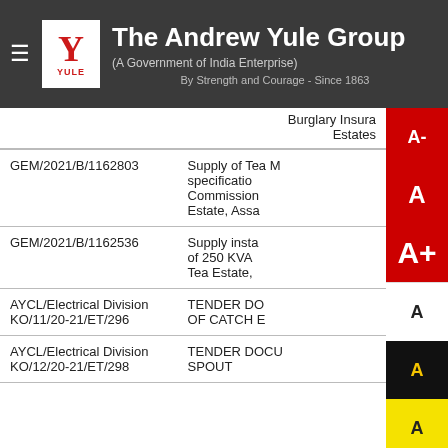The Andrew Yule Group (A Government of India Enterprise) - By Strength and Courage - Since 1863
| Tender ID | Description |
| --- | --- |
| GEM/2021/B/1162803 | Supply of Tea M specification... Commission... Estate, Assa... |
| GEM/2021/B/1162536 | Supply insta... of 250 KVA Tea Estate,... |
| AYCL/Electrical Division KO/11/20-21/ET/296 | TENDER DO... OF CATCH E... |
| AYCL/Electrical Division KO/12/20-21/ET/298 | TENDER DOCU SPOUT |